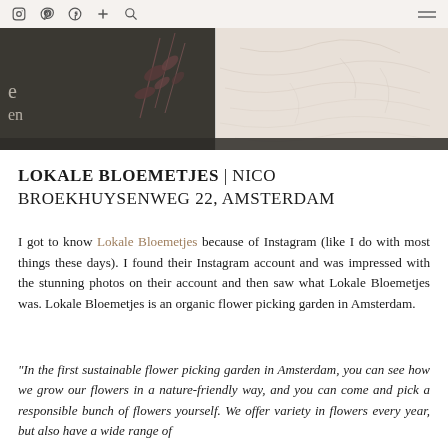Instagram Pinterest Facebook + Search [menu]
[Figure (photo): Banner image split into two panels: left panel shows dark background with dried flower stems and partial text 'e' and 'en'; right panel shows a light cream/beige textured surface]
LOKALE BLOEMETJES | NICO BROEKHUYSENWEG 22, AMSTERDAM
I got to know Lokale Bloemetjes because of Instagram (like I do with most things these days). I found their Instagram account and was impressed with the stunning photos on their account and then saw what Lokale Bloemetjes was. Lokale Bloemetjes is an organic flower picking garden in Amsterdam.
"In the first sustainable flower picking garden in Amsterdam, you can see how we grow our flowers in a nature-friendly way, and you can come and pick a responsible bunch of flowers yourself. We offer variety in flowers every year, but also have a wide range of